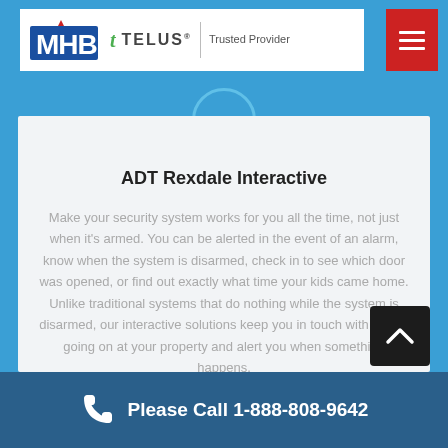MHB | TELUS Trusted Provider
ADT Rexdale Interactive
Make your security system works for you all the time, not just when it's armed. You can be alerted in the event of an alarm, know when the system is disarmed, check in to see which door was opened, or find out exactly what time your kids came home. Unlike traditional systems that do nothing while the system is disarmed, our interactive solutions keep you in touch with what's going on at your property and alert you when something happens.
Please Call 1-888-808-9642